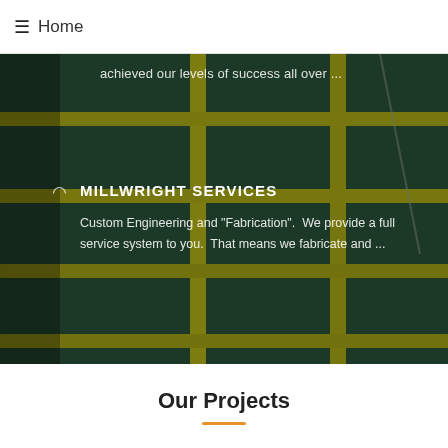≡ Home
achieved our levels of success all over ...
MILLWRIGHT SERVICES
Custom Engineering and "Fabrication".  We provide a full service system to you.  That means we fabricate and ...
Our Projects